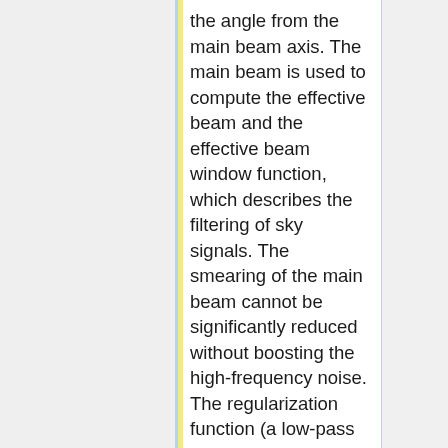the angle from the main beam axis. The main beam is used to compute the effective beam and the effective beam window function, which describes the filtering of sky signals. The smearing of the main beam cannot be significantly reduced without boosting the high-frequency noise. The regularization function (a low-pass filter)